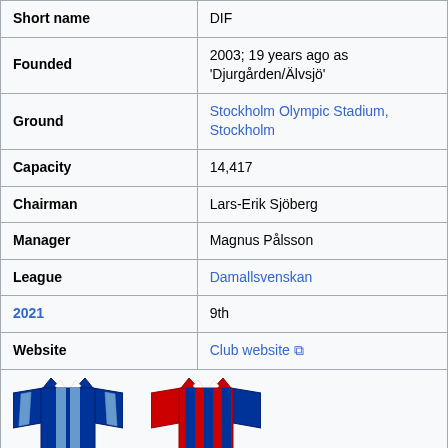| Field | Value |
| --- | --- |
| Short name | DIF |
| Founded | 2003; 19 years ago as 'Djurgården/Älvsjö' |
| Ground | Stockholm Olympic Stadium, Stockholm |
| Capacity | 14,417 |
| Chairman | Lars-Erik Sjöberg |
| Manager | Magnus Pålsson |
| League | Damallsvenskan |
| 2021 | 9th |
| Website | Club website ↗ |
[Figure (illustration): Two football kit shirts - a blue/white home kit and a red/blue striped away kit]